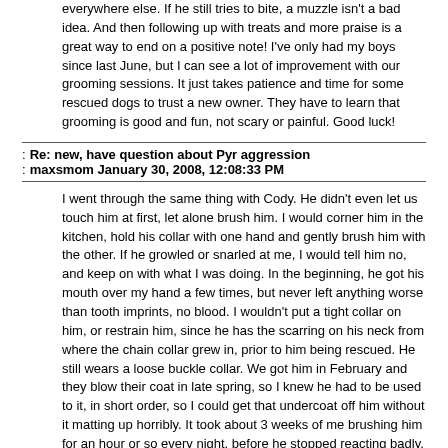everywhere else.  If he still tries to bite, a muzzle isn't a bad idea.  And then following up with treats and more praise is a great way to end on a positive note!  I've only had my boys since last June, but I can see a lot of improvement with our grooming sessions.  It just takes patience and time for some rescued dogs to trust a new owner.  They have to learn that grooming is good and fun, not scary or painful.  Good luck!
Re: new, have question about Pyr aggression
maxsmom January 30, 2008, 12:08:33 PM
I went through the same thing with Cody.  He didn't even let us touch him at first, let alone brush him.  I would corner him in the kitchen, hold his collar with one hand and gently brush him with the other.  If he growled or snarled at me, I would tell him no, and keep on with what I was doing.  In the beginning, he got his mouth over my hand a few times, but never left anything worse than tooth imprints, no blood.  I wouldn't put a tight collar on him, or restrain him, since he has the scarring on his neck from where the chain collar grew in, prior to him being rescued.  He still wears a loose buckle collar.  We got him in February and they blow their coat in late spring, so I knew he had to be used to it, in short order, so I could get that undercoat off him without it matting up horribly.  It took about 3 weeks of me brushing him for an hour or so every night, before he stopped reacting badly.  The main thing is to stay calm, so he will calm down, don't raise your voice, and above all, don't stop, when he growls or reacts.  If you do, he won and will continue the behaviour.  Good luck with them and you are